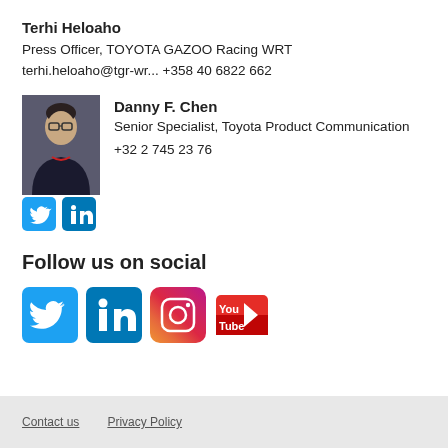Terhi Heloaho
Press Officer, TOYOTA GAZOO Racing WRT
terhi.heloaho@tgr-wr... +358 40 6822 662
[Figure (photo): Headshot photo of Danny F. Chen]
Danny F. Chen
Senior Specialist, Toyota Product Communication
+32 2 745 23 76
[Figure (infographic): Twitter and LinkedIn social media icons (small)]
Follow us on social
[Figure (infographic): Twitter, LinkedIn, Instagram, YouTube social media icons (large)]
Contact us   Privacy Policy